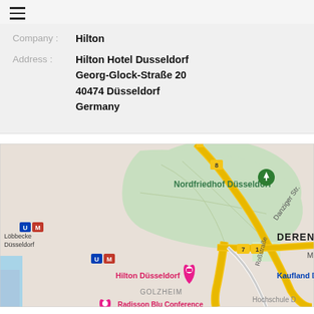☰
Company : Hilton
Address : Hilton Hotel Dusseldorf
Georg-Glock-Straße 20
40474 Düsseldorf
Germany
[Figure (map): Google Maps screenshot showing Hilton Düsseldorf hotel location at Georg-Glock-Straße 20, Düsseldorf, Germany. Map shows surrounding area including Nordfriedhof Düsseldorf, Derendorf district, Golzheim district, Kaufland Düsseldorf, Löbbecke Düsseldorf, Danziger Straße, Roßstraße, and Radisson Blu Conference hotel. Yellow roads visible with U and M transit markers.]